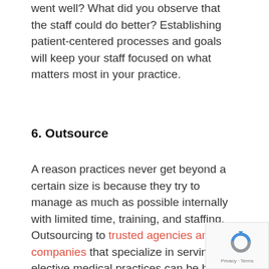went well? What did you observe that the staff could do better? Establishing patient-centered processes and goals will keep your staff focused on what matters most in your practice.
6. Outsource
A reason practices never get beyond a certain size is because they try to manage as much as possible internally with limited time, training, and staffing. Outsourcing to trusted agencies and companies that specialize in serving elective medical practices can be hugely beneficial.